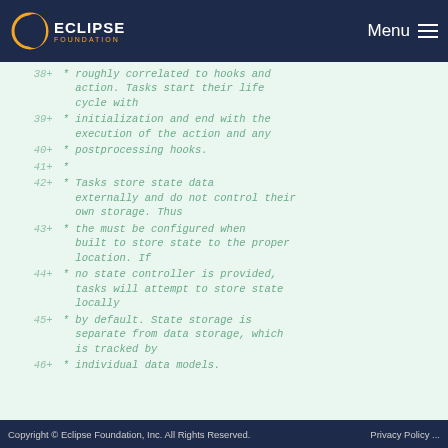Eclipse Foundation — Menu
38 +   * roughly correlated to hooks and action. Tasks start their life cycle with
39 +   * initialization and end with the execution of the action and any
40 +   * postprocessing hooks.
41 +   *
42 +   * Tasks store state data externally and do not control their own storage. Thus
43 +   * the must be configured when built to store state to the proper location. If
44 +   * no state controller is provided, tasks will attempt to store state locally
45 +   * by default. State storage is separate from data storage, which is tracked by
46 +   * individual data models.
Copyright © Eclipse Foundation, Inc. All Rights Reserved.    Privacy Policy ...